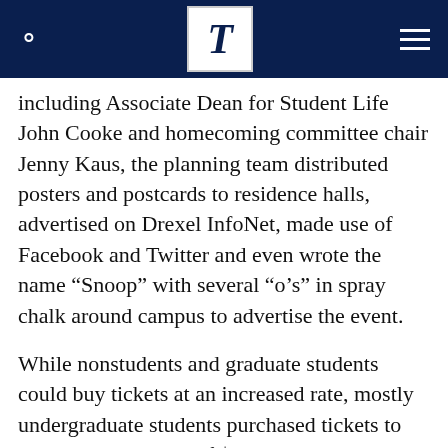T
including Associate Dean for Student Life John Cooke and homecoming committee chair Jenny Kaus, the planning team distributed posters and postcards to residence halls, advertised on Drexel InfoNet, made use of Facebook and Twitter and even wrote the name “Snoop” with several “o’s” in spray chalk around campus to advertise the event.
While nonstudents and graduate students could buy tickets at an increased rate, mostly undergraduate students purchased tickets to the concert at a rate of $5 per person. Due to capacity restrictions in the Armory, Winkleman and his team could only sell 3,000 tickets, and none will be offered at the door.
Attendees must present their Drexel ID and a print out